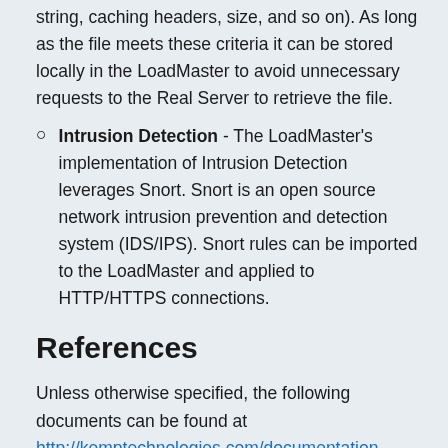string, caching headers, size, and so on). As long as the file meets these criteria it can be stored locally in the LoadMaster to avoid unnecessary requests to the Real Server to retrieve the file.
Intrusion Detection - The LoadMaster's implementation of Intrusion Detection leverages Snort. Snort is an open source network intrusion prevention and detection system (IDS/IPS). Snort rules can be imported to the LoadMaster and applied to HTTP/HTTPS connections.
References
Unless otherwise specified, the following documents can be found at http://kemptechnologies.com/documentation.
Virtual Services and Templates, Feature Description